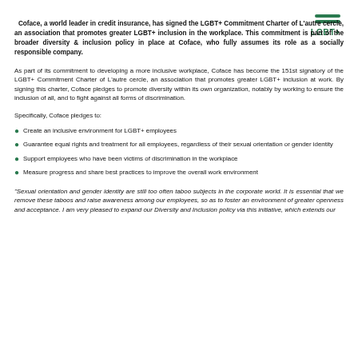[Figure (logo): LGBT+ Commitment Charter logo — two green horizontal bars with 'LGBT+' text below]
Coface, a world leader in credit insurance, has signed the LGBT+ Commitment Charter of L'autre cercle, an association that promotes greater LGBT+ inclusion in the workplace. This commitment is part of the broader diversity & inclusion policy in place at Coface, who fully assumes its role as a socially responsible company.
As part of its commitment to developing a more inclusive workplace, Coface has become the 151st signatory of the LGBT+ Commitment Charter of L'autre cercle, an association that promotes greater LGBT+ inclusion at work. By signing this charter, Coface pledges to promote diversity within its own organization, notably by working to ensure the inclusion of all, and to fight against all forms of discrimination.
Specifically, Coface pledges to:
Create an inclusive environment for LGBT+ employees
Guarantee equal rights and treatment for all employees, regardless of their sexual orientation or gender identity
Support employees who have been victims of discrimination in the workplace
Measure progress and share best practices to improve the overall work environment
"Sexual orientation and gender identity are still too often taboo subjects in the corporate world. It is essential that we remove these taboos and raise awareness among our employees, so as to foster an environment of greater openness and acceptance. I am very pleased to expand our Diversity and Inclusion policy via this initiative, which extends our